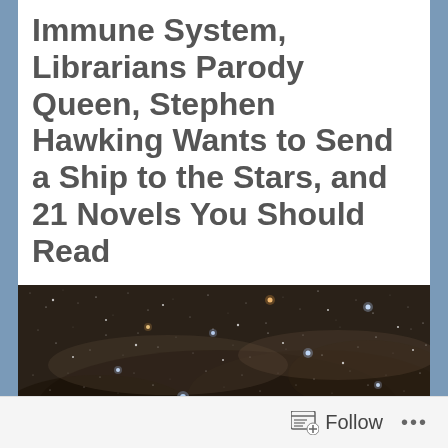Immune System, Librarians Parody Queen, Stephen Hawking Wants to Send a Ship to the Stars, and 21 Novels You Should Read
[Figure (photo): Night sky photograph showing a dense starfield with the Milky Way galaxy, featuring bright blue and orange stars against a dark background with dark nebula dust lanes]